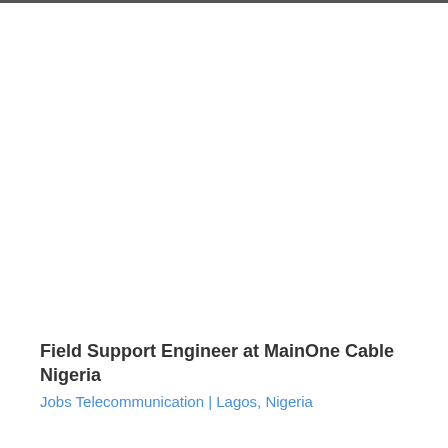Field Support Engineer at MainOne Cable Nigeria
Jobs Telecommunication | Lagos, Nigeria